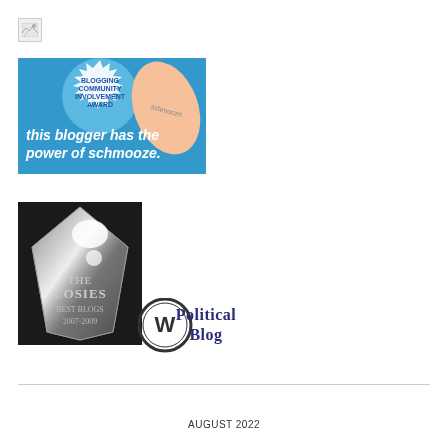[Figure (illustration): Broken image icon placeholder (small thumbnail with torn image icon)]
[Figure (illustration): Blogging Community Involvement Award badge - blue badge with flexing arm showing tattoo 'schmooze', text reads 'BLOGGING COMMUNITY INVOLVEMENT AWARD' and 'this blogger has the power of schmooze.']
[Figure (illustration): The Cosies Best Blogs 2007-2009 award - crystal/glass award shape on dark background with text 'THE COSIES BEST BLOGS 2007 2009']
[Figure (logo): WordPress Political Blog logo - WordPress circle logo next to text 'Political Blog' in dark blue serif font]
AUGUST 2022